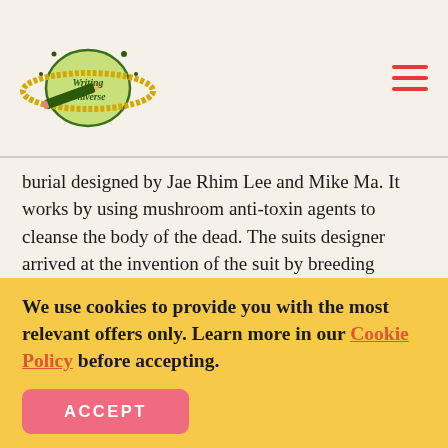[Figure (logo): Writing Universe logo: cartoon planet with pencil and text 'Writing Universe' in yellow-green color scheme]
burial designed by Jae Rhim Lee and Mike Ma. It works by using mushroom anti-toxin agents to cleanse the body of the dead. The suits designer arrived at the invention of the suit by breeding unique strains of mushrooms that would provide an environmentally friendly decomposition of human tissue after death. It is a designed suit that has mushroom pores, with good anti-toxin agents, infused into the suit’s fabric. The dead body of the individual is dressed into the suit and buried. The pores germinate and form mushrooms.
We use cookies to provide you with the most relevant offers only. Learn more in our Cookie Policy before accepting.
ACCEPT